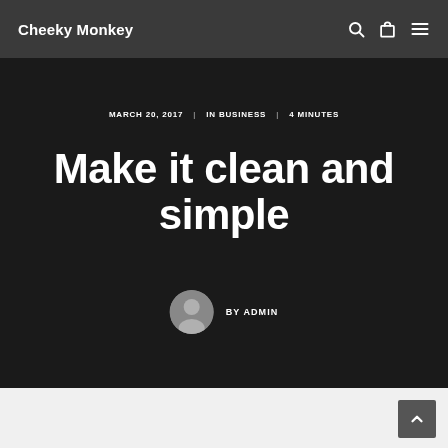Cheeky Monkey
MARCH 20, 2017 | IN BUSINESS | 4 MINUTES
Make it clean and simple
BY ADMIN
[Figure (illustration): Circular user avatar icon with grey background showing a silhouette person shape]
^